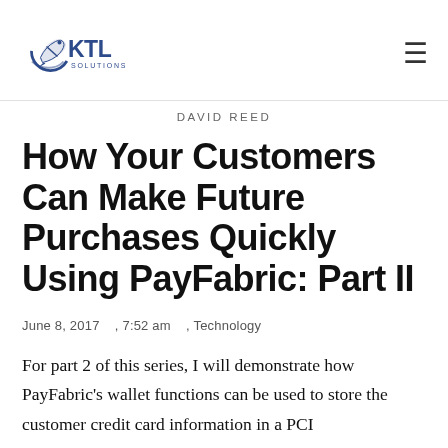[Figure (logo): KTL Solutions logo with stylized rocket/swoosh and company name]
DAVID REED
How Your Customers Can Make Future Purchases Quickly Using PayFabric: Part II
June 8, 2017    , 7:52 am    , Technology
For part 2 of this series, I will demonstrate how PayFabric's wallet functions can be used to store the customer credit card information in a PCI